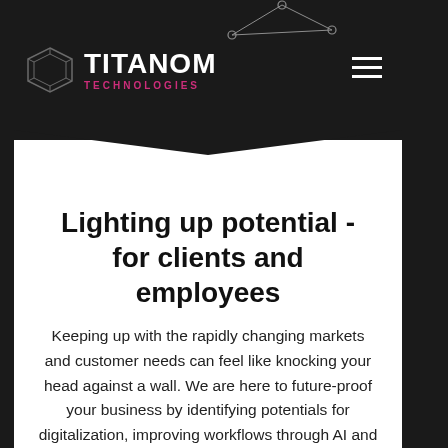[Figure (logo): Titanom Technologies logo with geometric diamond/polygon icon on the left and text 'TITANOM' in white bold letters with 'TECHNOLOGIES' in pink/magenta below, on dark background. Hamburger menu icon on the right.]
Lighting up potential - for clients and employees
Keeping up with the rapidly changing markets and customer needs can feel like knocking your head against a wall. We are here to future-proof your business by identifying potentials for digitalization, improving workflows through AI and building powerful individual software solutions.